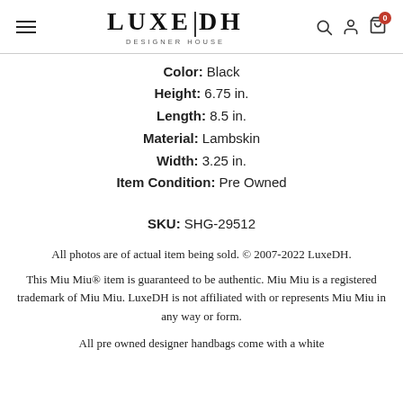LUXE|DH DESIGNER HOUSE
Color: Black
Height: 6.75 in.
Length: 8.5 in.
Material: Lambskin
Width: 3.25 in.
Item Condition: Pre Owned
SKU: SHG-29512
All photos are of actual item being sold. © 2007-2022 LuxeDH.
This Miu Miu® item is guaranteed to be authentic. Miu Miu is a registered trademark of Miu Miu. LuxeDH is not affiliated with or represents Miu Miu in any way or form.
All pre owned designer handbags come with a white